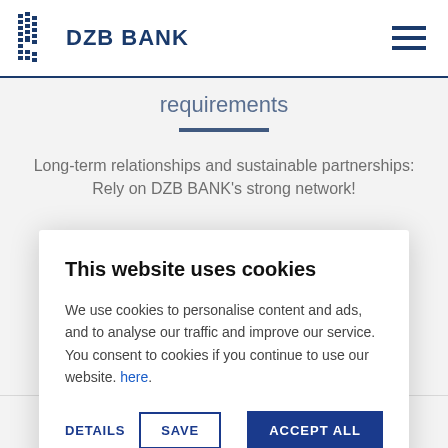DZB BANK
requirements
Long-term relationships and sustainable partnerships: Rely on DZB BANK's strong network!
This website uses cookies
We use cookies to personalise content and ads, and to analyse our traffic and improve our service. You consent to cookies if you continue to use our website. here.
DETAILS
SAVE
ACCEPT ALL